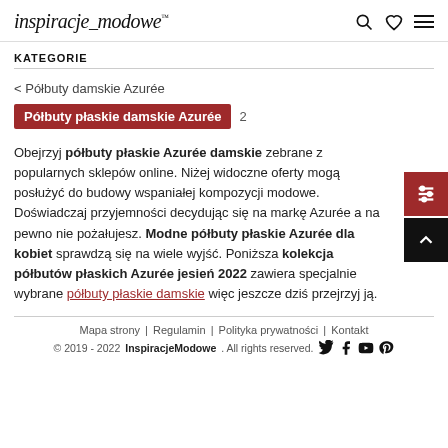inspiracje modowe
KATEGORIE
< Półbuty damskie Azurée
Półbuty płaskie damskie Azurée 2
Obejrzyj półbuty płaskie Azurée damskie zebrane z popularnych sklepów online. Niżej widoczne oferty mogą posłużyć do budowy wspaniałej kompozycji modowe. Doświadczaj przyjemności decydując się na markę Azurée a na pewno nie pożałujesz. Modne półbuty płaskie Azurée dla kobiet sprawdzą się na wiele wyjść. Poniższa kolekcja półbutów płaskich Azurée jesień 2022 zawiera specjalnie wybrane półbuty płaskie damskie więc jeszcze dziś przejrzyj ją.
Mapa strony | Regulamin | Polityka prywatności | Kontakt © 2019 - 2022 InspiracjeModowe. All rights reserved.